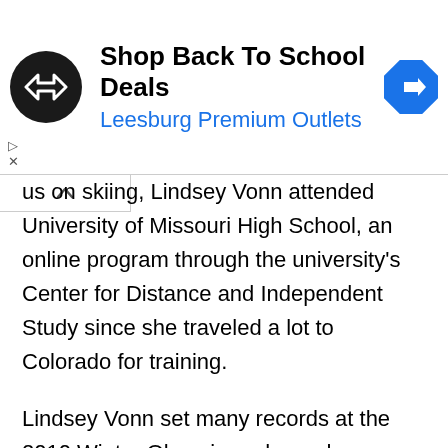[Figure (other): Advertisement banner for Leesburg Premium Outlets with logo, text 'Shop Back To School Deals' and navigation icon]
us on skiing, Lindsey Vonn attended University of Missouri High School, an online program through the university's Center for Distance and Independent Study since she traveled a lot to Colorado for training.
Lindsey Vonn set many records at the 2010 Winter Olympics, where she won the gold, a first for an American woman. Vonn has also won a record 8 American World Cup medals in the downhill discipline (2008–2013, 2015, 2016). She has earned five titles in super-G and three